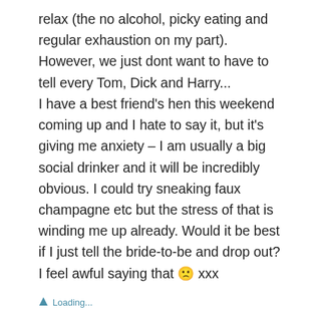relax (the no alcohol, picky eating and regular exhaustion on my part). However, we just dont want to have to tell every Tom, Dick and Harry... I have a best friend's hen this weekend coming up and I hate to say it, but it's giving me anxiety – I am usually a big social drinker and it will be incredibly obvious. I could try sneaking faux champagne etc but the stress of that is winding me up already. Would it be best if I just tell the bride-to-be and drop out? I feel awful saying that 🙁 xxx
Loading...